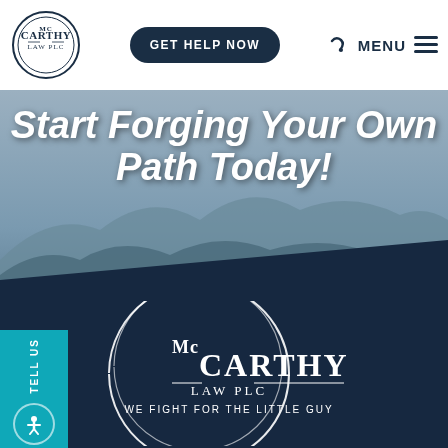[Figure (logo): McCarthy Law PLC circular logo in top-left of navigation bar]
GET HELP NOW
MENU
[Figure (photo): Mountain landscape background photo with misty blue-grey mountains and dark foreground]
Start Forging Your Own Path Today!
TELL US
[Figure (logo): McCarthy Law PLC white logo with text WE FIGHT FOR THE LITTLE GUY at bottom of dark navy section]